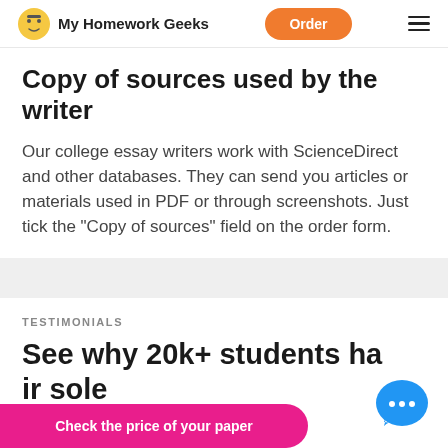My Homework Geeks | Order
Copy of sources used by the writer
Our college essay writers work with ScienceDirect and other databases. They can send you articles or materials used in PDF or through screenshots. Just tick the "Copy of sources" field on the order form.
TESTIMONIALS
See why 20k+ students ha... ir sole
Check the price of your paper